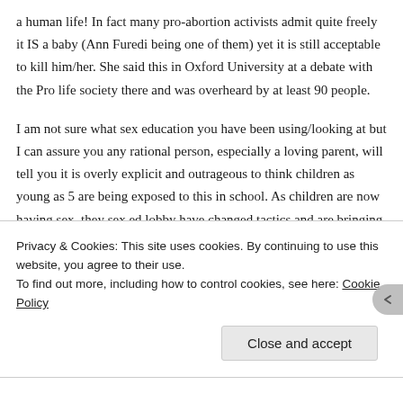a human life! In fact many pro-abortion activists admit quite freely it IS a baby (Ann Furedi being one of them) yet it is still acceptable to kill him/her. She said this in Oxford University at a debate with the Pro life society there and was overheard by at least 90 people.
I am not sure what sex education you have been using/looking at but I can assure you any rational person, especially a loving parent, will tell you it is overly explicit and outrageous to think children as young as 5 are being exposed to this in school. As children are now having sex, they sex ed lobby have changed tactics and are bringing in more sexually explicit material so that these children are armed in contraceptive advice and knowledge. But you can never teach a child what it is like to have sex. It is devoid of real love because sexual
Privacy & Cookies: This site uses cookies. By continuing to use this website, you agree to their use.
To find out more, including how to control cookies, see here: Cookie Policy
Close and accept